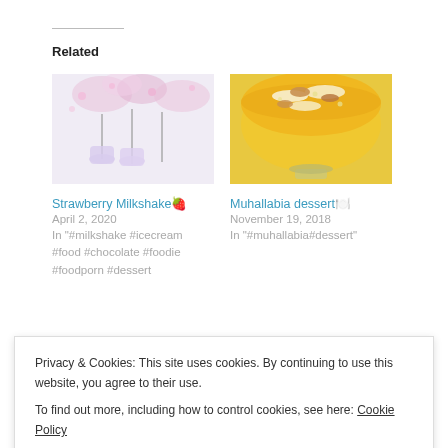Related
[Figure (photo): Photo of two purple milkshake glasses with pink cherry blossom flowers in the background]
Strawberry Milkshake🍓
April 2, 2020
In "#milkshake #icecream #food #chocolate #foodie #foodporn #dessert
[Figure (photo): Photo of a bowl of yellow muhallabia dessert topped with oats and almonds]
Muhallabia dessert🍽️
November 19, 2018
In "#muhallabia#dessert"
Privacy & Cookies: This site uses cookies. By continuing to use this website, you agree to their use.
To find out more, including how to control cookies, see here: Cookie Policy
Close and accept